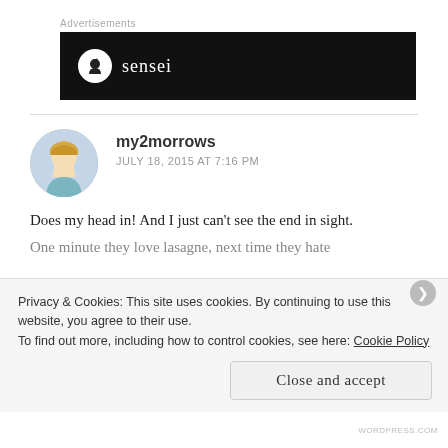Advertisements
[Figure (logo): Black banner advertisement with white circle icon and 'sensei' text in white serif font]
[Figure (photo): Circular avatar photo of a blonde woman with purple flowers in background]
my2morrows
JULY 18, 2015 AT 7:16 PM
Does my head in! And I just can't see the end in sight.
One minute they love lasagne, next time they hate
Privacy & Cookies: This site uses cookies. By continuing to use this website, you agree to their use.
To find out more, including how to control cookies, see here: Cookie Policy
Close and accept